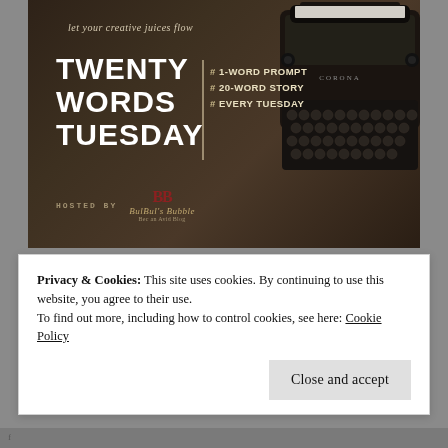[Figure (illustration): Twenty Words Tuesday blog challenge banner. Dark wood background with a vintage typewriter on the right side. White bold text reads TWENTY WORDS TUESDAY on the left. Italic script tagline 'let your creative juices flow' at top. Hashtag prompts list: #1-WORD PROMPT, #20-WORD STORY, #EVERY TUESDAY. Bottom shows 'HOSTED BY' label and BulBul's Bubble brand logo.]
Privacy & Cookies: This site uses cookies. By continuing to use this website, you agree to their use.
To find out more, including how to control cookies, see here: Cookie Policy
Close and accept